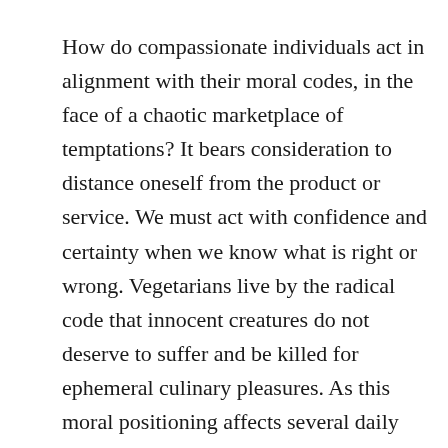How do compassionate individuals act in alignment with their moral codes, in the face of a chaotic marketplace of temptations? It bears consideration to distance oneself from the product or service. We must act with confidence and certainty when we know what is right or wrong. Vegetarians live by the radical code that innocent creatures do not deserve to suffer and be killed for ephemeral culinary pleasures. As this moral positioning affects several daily decisions, it becomes a staple of the herbivore's identity. If you abstain from animal products or exploitation in several areas of your life, you already know the experience of carefully examining each potential purchase. The evolved consumer is so much more than a purchasing machine. She researches a company and its